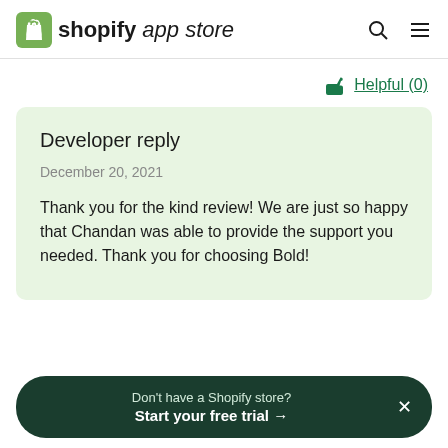shopify app store
Helpful (0)
Developer reply
December 20, 2021
Thank you for the kind review! We are just so happy that Chandan was able to provide the support you needed. Thank you for choosing Bold!
Don't have a Shopify store? Start your free trial →